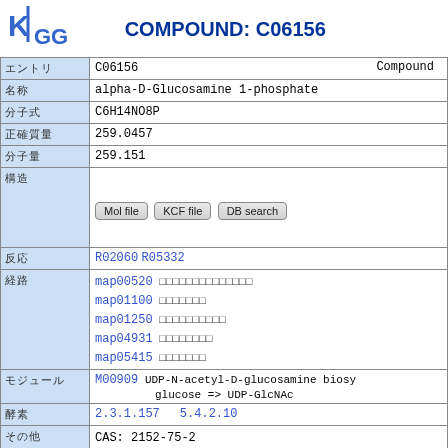COMPOUND: C06156
| Field | Value |
| --- | --- |
| エントリ | C06156    Compound |
| 名称 | alpha-D-Glucosamine 1-phosphate |
| 分子式 | C6H14NO8P |
| 正確質量 | 259.0457 |
| 分子量 | 259.151 |
| 構造 | [Mol file] [KCF file] [DB search] |
| 反応 | R02060 R05332 |
| 経路 | map00520 ...
map01100 ...
map01250 ...
map04931 ...
map05415 ... |
| モジュール | M00909  UDP-N-acetyl-D-glucosamine biosy... glucose => UDP-GlcNAc |
| 酵素 | 2.3.1.157    5.4.2.10 |
| その他 | CAS: 2152-75-2
PubChem: 8412
ChEBI: 27625 |